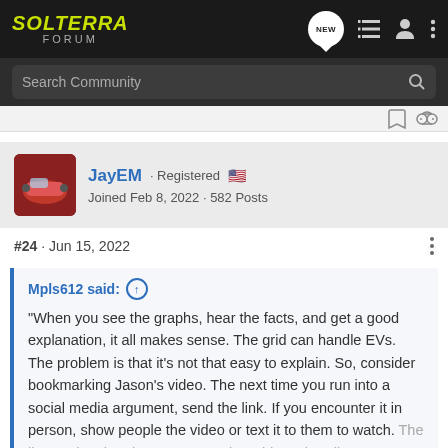SOLTERRA FORUM
Search Community
JayEM · Registered
Joined Feb 8, 2022 · 582 Posts
#24 · Jun 15, 2022
Mpls612 said:
"When you see the graphs, hear the facts, and get a good explanation, it all makes sense. The grid can handle EVs. The problem is that it's not that easy to explain. So, consider bookmarking Jason's video. The next time you run into a social media argument, send the link. If you encounter it in person, show people the video or text it to them to watch. The lies saying that there's no way the grid can handle EVs are already halfway 'round the world. It's time to help
Click to expand...